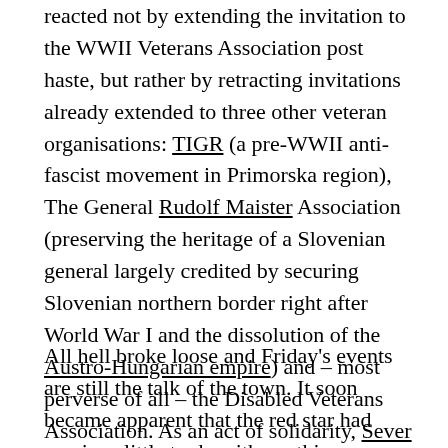reacted not by extending the invitation to the WWII Veterans Association post haste, but rather by retracting invitations already extended to three other veteran organisations: TIGR (a pre-WWII anti-fascist movement in Primorska region), The General Rudolf Maister Association (preserving the heritage of a Slovenian general largely credited by securing Slovenian northern border right after World War I and the dissolution of the Austro-Hungarian empire) and – most perverse of all – the Disabled Veterans Association. As an act of solidarity, Sever Association (policemen who fought in the Independence War) refused to take part in Friday's celebrations as well.
All hell broke loose and Friday's events are still the talk of the town. It soon became apparent that the red star had precious little to do with anything. Instead, what really happened was an attempt at hi